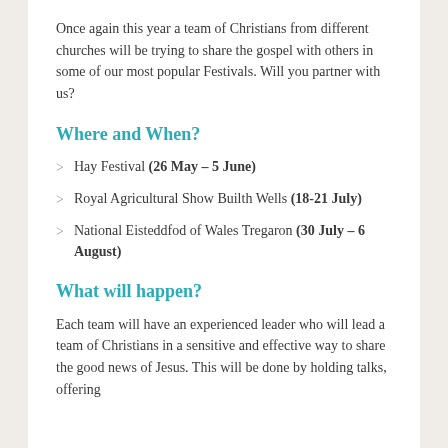Once again this year a team of Christians from different churches will be trying to share the gospel with others in some of our most popular Festivals. Will you partner with us?
Where and When?
Hay Festival (26 May – 5 June)
Royal Agricultural Show Builth Wells (18-21 July)
National Eisteddfod of Wales Tregaron (30 July – 6 August)
What will happen?
Each team will have an experienced leader who will lead a team of Christians in a sensitive and effective way to share the good news of Jesus. This will be done by holding talks, offering